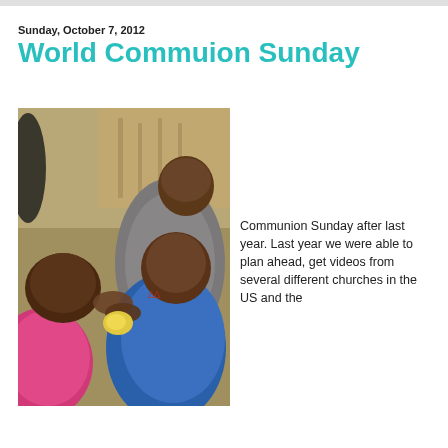Sunday, October 7, 2012
World Commuion Sunday
[Figure (photo): A photograph of several African children sharing food outdoors. One child in a gray shirt leans over two younger children, one wearing a blue shirt and another in a pink top. They appear to be eating or sharing a piece of fruit.]
I was so excited about World Communion Sunday after last year. Last year we were able to plan ahead, get videos from several different churches in the US and the